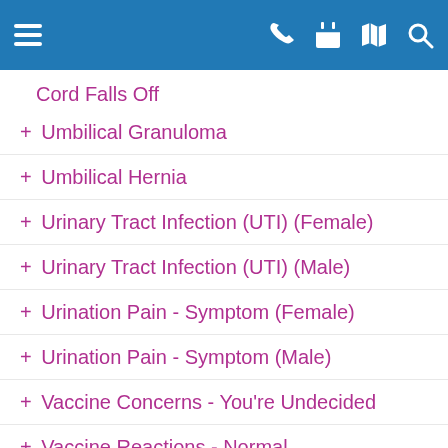Navigation header with menu, phone, calendar, map, and search icons
Cord Falls Off
+ Umbilical Granuloma
+ Umbilical Hernia
+ Urinary Tract Infection (UTI) (Female)
+ Urinary Tract Infection (UTI) (Male)
+ Urination Pain - Symptom (Female)
+ Urination Pain - Symptom (Male)
+ Vaccine Concerns - You're Undecided
+ Vaccine Reactions - Normal
+ Vaccine Reactions - Specific Details